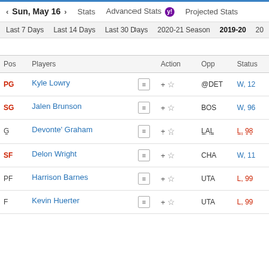Sun, May 16 | Stats | Advanced Stats | Projected Stats
Last 7 Days | Last 14 Days | Last 30 Days | 2020-21 Season | 2019-20
| Pos | Players | Action | Opp | Status |
| --- | --- | --- | --- | --- |
| PG | Kyle Lowry | ≡ + ☆ | @DET | W, 12... |
| SG | Jalen Brunson | ≡ + ☆ | BOS | W, 96... |
| G | Devonte' Graham | ≡ + ☆ | LAL | L, 98... |
| SF | Delon Wright | ≡ + ☆ | CHA | W, 11... |
| PF | Harrison Barnes | ≡ + ☆ | UTA | L, 99... |
| F | Kevin Huerter | ≡ + ☆ | UTA | L, 99... |